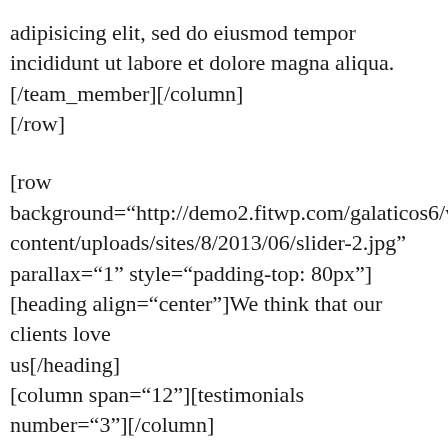adipisicing elit, sed do eiusmod tempor incididunt ut labore et dolore magna aliqua.[/team_member][/column][/row]
[row background="http://demo2.fitwp.com/galaticos6/wp-content/uploads/sites/8/2013/06/slider-2.jpg" parallax="1" style="padding-top: 80px"] [heading align="center"]We think that our clients love us[/heading] [column span="12"][testimonials number="3"][/column] [/row]
[clients][client name="FITWP" url="http://fitwp.com" image="http://demo2.fitwp.com/galaticos6/wp-